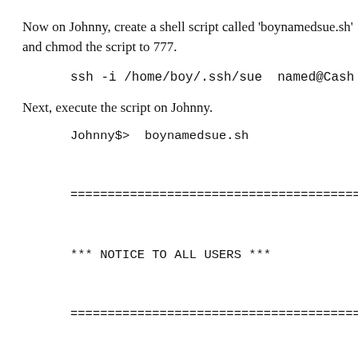Now on Johnny, create a shell script called 'boynamedsue.sh' and chmod the script to 777.
ssh -i /home/boy/.ssh/sue named@Cash
Next, execute the script on Johnny.
Johnny$>  boynamedsue.sh
==========================================
*** NOTICE TO ALL USERS ***
==========================================
-rwxrwxr-x 1 named  namedgrp 10020 Oct